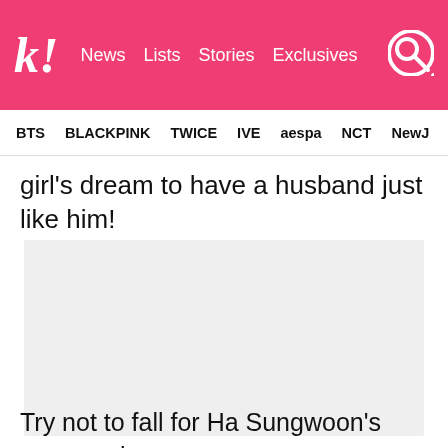k! News  Lists  Stories  Exclusives
BTS  BLACKPINK  TWICE  IVE  aespa  NCT  NewJ
girl's dream to have a husband just like him!
[Figure (photo): Image placeholder (light gray rectangle)]
Try not to fall for Ha Sungwoon's aegyo… but